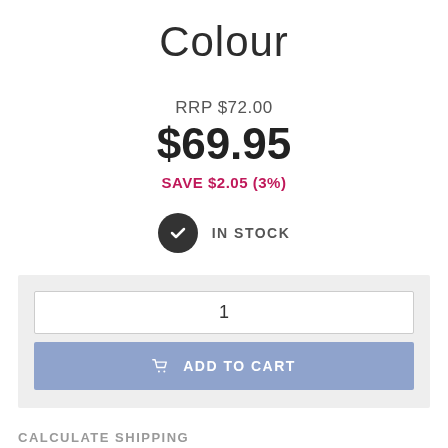Colour
RRP $72.00
$69.95
SAVE $2.05 (3%)
IN STOCK
1
ADD TO CART
CALCULATE SHIPPING